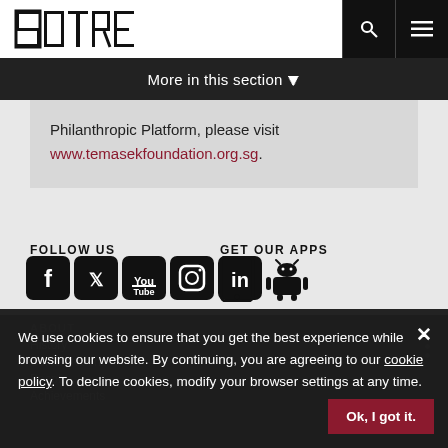[Figure (logo): SUTRA logo in stylized block letters]
More in this section ▾
Philanthropic Platform, please visit www.temasekfoundation.org.sg.
FOLLOW US
[Figure (infographic): Social media icons: Facebook, Twitter, YouTube, Instagram, LinkedIn]
GET OUR APPS
[Figure (infographic): App icons: iOS phone and Android robot]
ABOUT
History
Collaborations
People
Achievements
We use cookies to ensure that you get the best experience while browsing our website. By continuing, you are agreeing to our cookie policy. To decline cookies, modify your browser settings at any time.